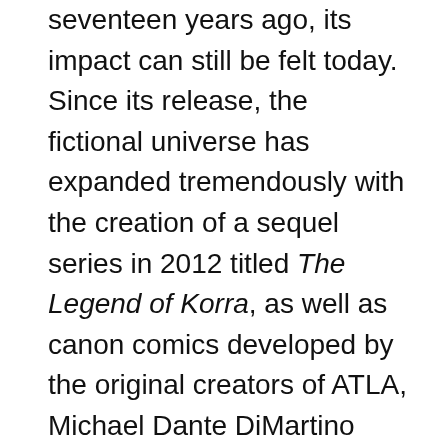seventeen years ago, its impact can still be felt today. Since its release, the fictional universe has expanded tremendously with the creation of a sequel series in 2012 titled The Legend of Korra, as well as canon comics developed by the original creators of ATLA, Michael Dante DiMartino and Bryan Konietzko.

Fans have been longing for new animated content in the Avatar universe since The Legend of Korra ended in 2014. This desire was partially fulfilled in September 2018 when DiMartino and Konietzko announced on Instagram that they would be working with Netflix to create new Avatar content, but fans were confused to discover that the